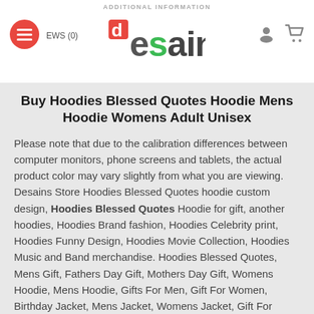ADDITIONAL INFORMATION
Buy Hoodies Blessed Quotes Hoodie Mens Hoodie Womens Adult Unisex
Please note that due to the calibration differences between computer monitors, phone screens and tablets, the actual product color may vary slightly from what you are viewing. Desains Store Hoodies Blessed Quotes hoodie custom design, Hoodies Blessed Quotes Hoodie for gift, another hoodies, Hoodies Brand fashion, Hoodies Celebrity print, Hoodies Funny Design, Hoodies Movie Collection, Hoodies Music and Band merchandise. Hoodies Blessed Quotes, Mens Gift, Fathers Day Gift, Mothers Day Gift, Womens Hoodie, Mens Hoodie, Gifts For Men, Gift For Women, Birthday Jacket, Mens Jacket, Womens Jacket, Gift For Mom, Gift For Dad.